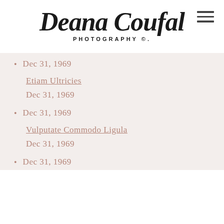[Figure (logo): Deana Coufal Photography logo with script font and hamburger menu icon]
Dec 31, 1969
Etiam Ultricies
Dec 31, 1969
Dec 31, 1969
Vulputate Commodo Ligula
Dec 31, 1969
Dec 31, 1969